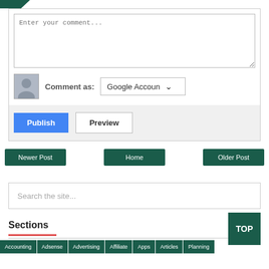[Figure (logo): Dark green triangular logo shape in top left corner]
Enter your comment...
Comment as: Google Accoun
Publish
Preview
Newer Post
Home
Older Post
Search the site...
Sections
TOP
Accounting Adsense Advertising Affiliate Apps Articles Planning